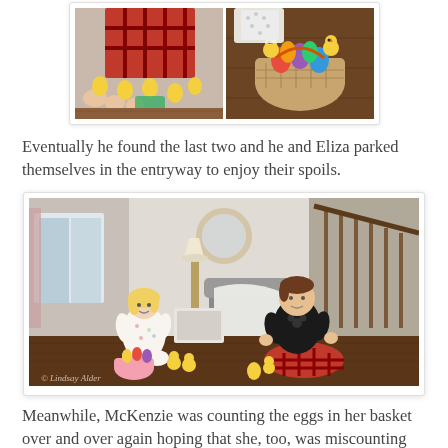[Figure (photo): Two-panel collage at top: left panel shows close-up of child's feet/hands with yellow Easter eggs and red plaid pajamas; right panel shows a wicker basket with colorful Easter eggs and yellow chicks on a dark wood floor.]
Eventually he found the last two and he and Eliza parked themselves in the entryway to enjoy their spoils.
[Figure (photo): Photo of two children sitting on a dark hardwood floor in an entryway. A young girl in white floral pajamas sits on the left near a pink basket with Easter eggs and yellow chicks. A boy in black shirt and red plaid pajamas sits cross-legged on the right. In the background is a staircase, a gray chair with a white blanket, a lamp, and a round mirror on the wall. Watermark reads '© Lindsay Alder'.]
Meanwhile, McKenzie was counting the eggs in her basket over and over again hoping that she, too, was miscounting but she was not... she had 29 every time she counted. One left. 'I think it's nowhere,' she said dejectedly.